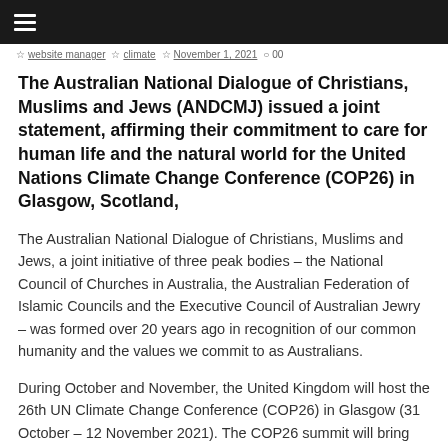☰
website manager   climate   November 1, 2021   ○ 00
The Australian National Dialogue of Christians, Muslims and Jews (ANDCMJ) issued a joint statement, affirming their commitment to care for human life and the natural world for the United Nations Climate Change Conference (COP26) in Glasgow, Scotland,
The Australian National Dialogue of Christians, Muslims and Jews, a joint initiative of three peak bodies – the National Council of Churches in Australia, the Australian Federation of Islamic Councils and the Executive Council of Australian Jewry – was formed over 20 years ago in recognition of our common humanity and the values we commit to as Australians.
During October and November, the United Kingdom will host the 26th UN Climate Change Conference (COP26) in Glasgow (31 October – 12 November 2021). The COP26 summit will bring parties together to accelerate action towards the goals of the Paris Agreement and the UN Framework Convention on Climate